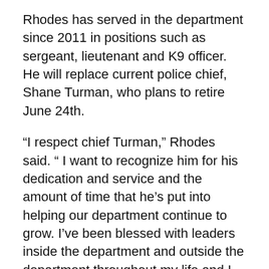Rhodes has served in the department since 2011 in positions such as sergeant, lieutenant and K9 officer. He will replace current police chief, Shane Turman, who plans to retire June 24th.
“I respect chief Turman,” Rhodes said. “ I want to recognize him for his dedication and service and the amount of time that he's put into helping our department continue to grow. I've been blessed with leaders inside the department and outside the department throughout my life and I appreciate that.”
Rhodes shared some of his goals going forward. He has high hopes for the officers and the Rexburg Police Department as a whole.
“I believe every police officer is a great leader,” Rhodes said. “Our goal is to train leaders. Our goal is to make sure our officers are well-trained and that they’re leaders in...